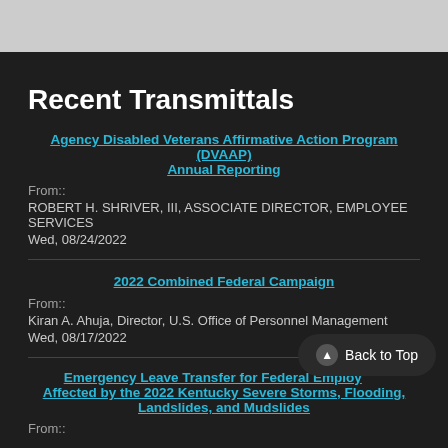Recent Transmittals
Agency Disabled Veterans Affirmative Action Program (DVAAP) Annual Reporting
From:: ROBERT H. SHRIVER, III, ASSOCIATE DIRECTOR, EMPLOYEE SERVICES
Wed, 08/24/2022
2022 Combined Federal Campaign
From:: Kiran A. Ahuja, Director, U.S. Office of Personnel Management
Wed, 08/17/2022
Emergency Leave Transfer for Federal Employees Affected by the 2022 Kentucky Severe Storms, Flooding, Landslides, and Mudslides
From::